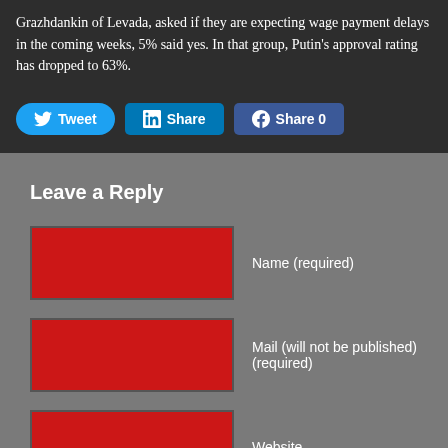Grazhdankin of Levada, asked if they are expecting wage payment delays in the coming weeks, 5% said yes. In that group, Putin's approval rating has dropped to 63%.
[Figure (screenshot): Social sharing buttons: Tweet (Twitter), Share (LinkedIn), Share 0 (Facebook)]
Leave a Reply
Name (required)
Mail (will not be published) (required)
Website